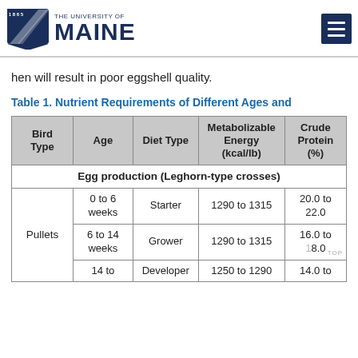1865 THE UNIVERSITY OF MAINE
hen will result in poor eggshell quality.
Table 1. Nutrient Requirements of Different Ages and
| Bird Type | Age | Diet Type | Metabolizable Energy (kcal/lb) | Crude Protein (%) |
| --- | --- | --- | --- | --- |
| Egg production (Leghorn-type crosses) |  |  |  |  |
| Pullets | 0 to 6 weeks | Starter | 1290 to 1315 | 20.0 to 22.0 |
| Pullets | 6 to 14 weeks | Grower | 1290 to 1315 | 16.0 to 18.0 |
| Pullets | 14 to | Developer | 1250 to 1290 | 14.0 to |